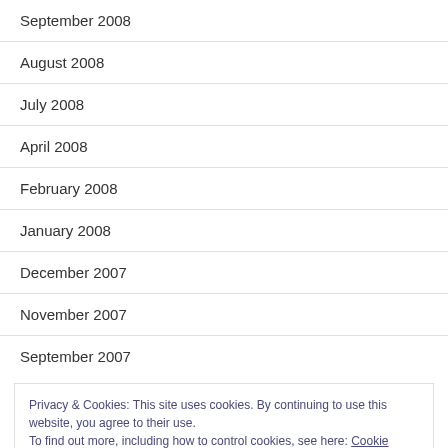September 2008
August 2008
July 2008
April 2008
February 2008
January 2008
December 2007
November 2007
September 2007
Privacy & Cookies: This site uses cookies. By continuing to use this website, you agree to their use.
To find out more, including how to control cookies, see here: Cookie Policy
March 2007